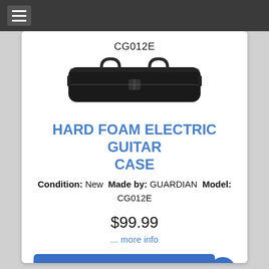≡ (navigation menu)
CG012E
[Figure (photo): Photo of a black hard foam electric guitar case / gig bag with carry handles and a small cross clasp in the center]
HARD FOAM ELECTRIC GUITAR CASE
Condition: New Made by: GUARDIAN Model: CG012E
$99.99
... more info
Sold Out